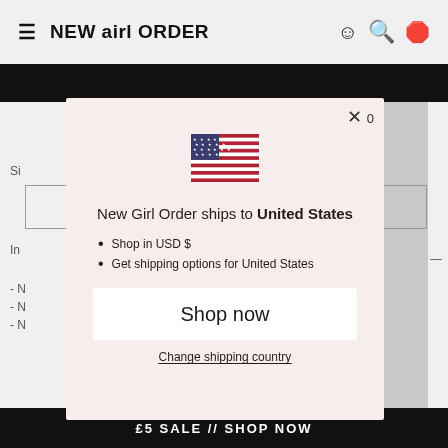NEW airl ORDER
[Figure (screenshot): US flag emoji displayed in modal]
New Girl Order ships to United States
Shop in USD $
Get shipping options for United States
Shop now
Change shipping country
£5 SALE // SHOP NOW